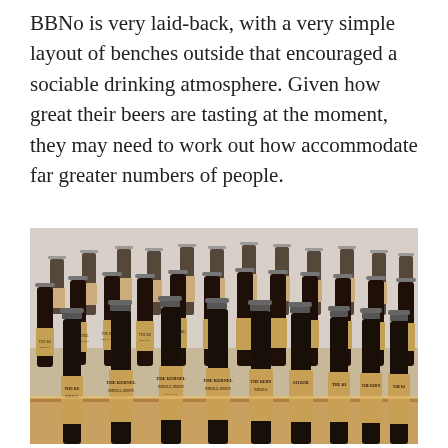BBNo is very laid-back, with a very simple layout of benches outside that encouraged a sociable drinking atmosphere. Given how great their beers are tasting at the moment, they may need to work out how accommodate far greater numbers of people.
[Figure (photo): A large collection of dark brown beer bottles labeled 'The Kernel' with tan/kraft paper labels reading 'IMPERIAL BROWN' arranged in rows on a wooden surface in a brewery setting.]